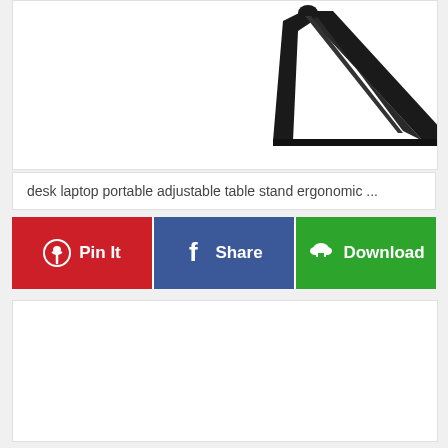[Figure (photo): Product photo of a black desk laptop portable adjustable table stand, ergonomic design, shown on white background]
desk laptop portable adjustable table stand ergonomic …
[Figure (infographic): Three social sharing/action buttons: Pin It (red, Pinterest icon), Share (blue, Facebook icon), Download (green, cloud download icon)]
[Figure (other): Empty white content area below the buttons]